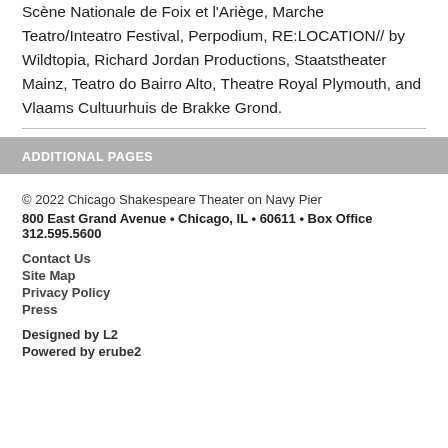Scène Nationale de Foix et l'Ariège, Marche Teatro/Inteatro Festival, Perpodium, RE:LOCATION// by Wildtopia, Richard Jordan Productions, Staatstheater Mainz, Teatro do Bairro Alto, Theatre Royal Plymouth, and Vlaams Cultuurhuis de Brakke Grond.
ADDITIONAL PAGES
© 2022 Chicago Shakespeare Theater on Navy Pier
800 East Grand Avenue • Chicago, IL • 60611 • Box Office 312.595.5600
Contact Us
Site Map
Privacy Policy
Press
Designed by L2
Powered by erube2